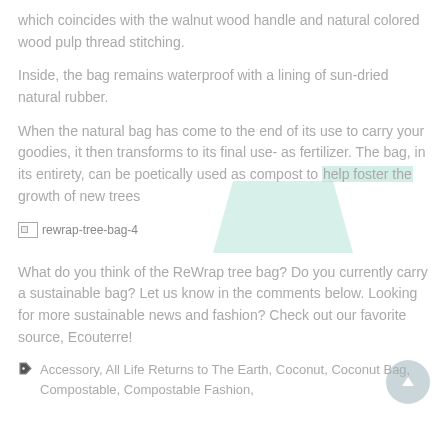which coincides with the walnut wood handle and natural colored wood pulp thread stitching.
Inside, the bag remains waterproof with a lining of sun-dried natural rubber.
When the natural bag has come to the end of its use to carry your goodies, it then transforms to its final use- as fertilizer. The bag, in its entirety, can be poetically used as compost to help foster the growth of new trees
[Figure (photo): Broken image placeholder labeled 'rewrap-tree-bag-4']
What do you think of the ReWrap tree bag?  Do you currently carry a sustainable bag?  Let us know in the comments below.  Looking for more sustainable news and fashion?  Check out our favorite source, Ecouterre!
Accessory, All Life Returns to The Earth, Coconut, Coconut Bag, Compostable, Compostable Fashion,